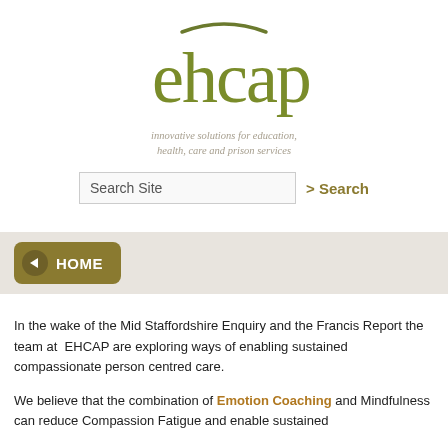[Figure (logo): ehcap logo in olive/dark yellow-green color with an arc above the letters]
innovative solutions for education, health, care and prison services
Search Site
> Search
HOME
In the wake of the Mid Staffordshire Enquiry and the Francis Report the team at EHCAP are exploring ways of enabling sustained compassionate person centred care.
We believe that the combination of Emotion Coaching and Mindfulness can reduce Compassion Fatigue and enable sustained